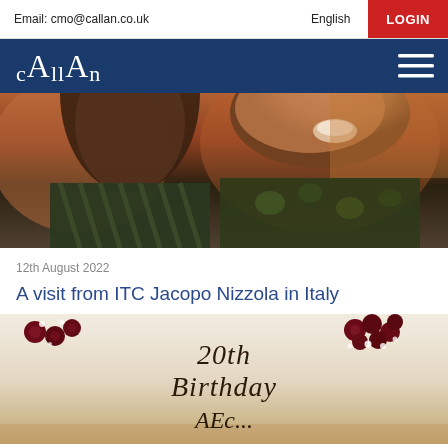Email: cmo@callan.co.uk | English | LOGIN
[Figure (logo): Callan logo on dark blue navigation bar with hamburger menu icon]
[Figure (photo): Close-up photo of two people at a gathering; one person on the left with dark hair partially visible, one on the right smiling wearing a floral/patterned shirt]
12th August 2022
A visit from ITC Jacopo Nizzola in Italy
[Figure (photo): Close-up photo of a white iced cake decorated with dark berries and powdered sugar, with cursive script writing reading '20th Birthday Abc...']